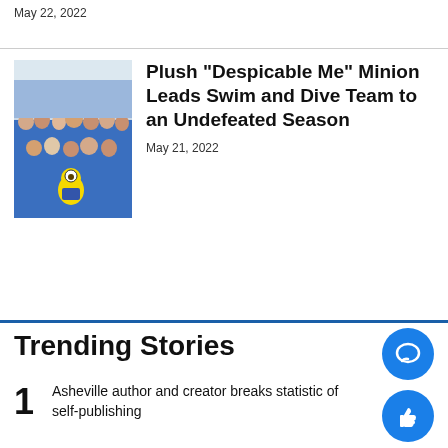May 22, 2022
[Figure (photo): Group photo of swim and dive team in blue uniforms with a minion plush toy]
Plush "Despicable Me" Minion Leads Swim and Dive Team to an Undefeated Season
May 21, 2022
Trending Stories
Asheville author and creator breaks statistic of self-publishing